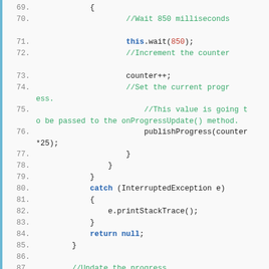[Figure (screenshot): Java source code snippet showing lines 69-92 of an AsyncTask implementation with a progress dialog, including a synchronized wait loop, catch block for InterruptedException, and onProgressUpdate override method.]